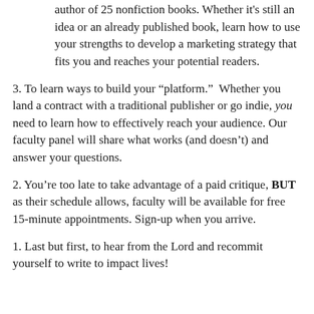author of 25 nonfiction books. Whether it's still an idea or an already published book, learn how to use your strengths to develop a marketing strategy that fits you and reaches your potential readers.
3. To learn ways to build your “platform.”  Whether you land a contract with a traditional publisher or go indie, you need to learn how to effectively reach your audience. Our faculty panel will share what works (and doesn’t) and answer your questions.
2. You’re too late to take advantage of a paid critique, BUT as their schedule allows, faculty will be available for free 15-minute appointments. Sign-up when you arrive.
1. Last but first, to hear from the Lord and recommit yourself to write to impact lives!